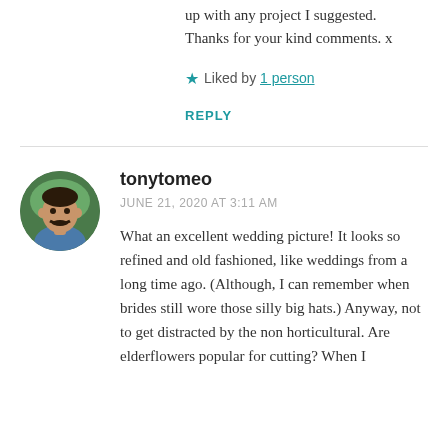up with any project I suggested. Thanks for your kind comments. x
★ Liked by 1 person
REPLY
[Figure (photo): Circular avatar photo of tonytomeo, a man with dark hair and mustache wearing a blue shirt, outdoors with green background]
tonytomeo
JUNE 21, 2020 AT 3:11 AM
What an excellent wedding picture! It looks so refined and old fashioned, like weddings from a long time ago. (Although, I can remember when brides still wore those silly big hats.) Anyway, not to get distracted by the non horticultural. Are elderflowers popular for cutting? When I